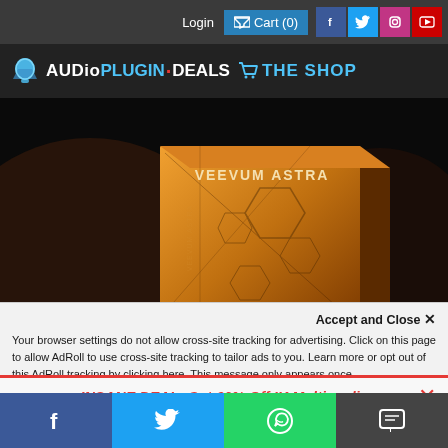Login  Cart (0)  [Facebook] [Twitter] [Instagram] [YouTube]
[Figure (logo): AudioPlugin.Deals The Shop logo on dark background]
[Figure (photo): Veevum Astra product box — orange/amber colored box with hexagon geometric design and VEEVUM ASTRA text]
Accept and Close ×
Your browser settings do not allow cross-site tracking for advertising. Click on this page to allow AdRoll to use cross-site tracking to tailor ads to you. Learn more or opt out of this AdRoll tracking by clicking here. This message only appears once.
INSANE DEAL: Get 60% Off IK Multimedia
[Facebook] [Twitter] [WhatsApp] [SMS]